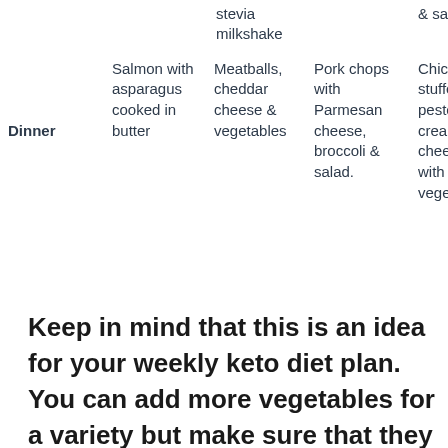|  | Day 1 | Day 2 | Day 3 | Day 4 |
| --- | --- | --- | --- | --- |
|  | stevia
milkshake |  | & salsa |
| Dinner | Salmon with asparagus cooked in butter | Meatballs, cheddar cheese & vegetables | Pork chops with Parmesan cheese, broccoli & salad. | Chicken stuffed with pesto & cream cheese, along with vegetables |
Keep in mind that this is an idea for your weekly keto diet plan. You can add more vegetables for a variety but make sure that they are always present in your daily intake. If you need to eat a snack to two during the day in between meals,